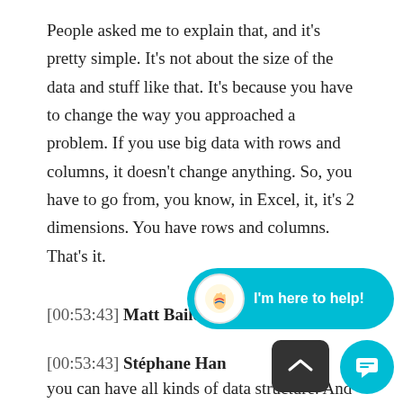People asked me to explain that, and it's pretty simple. It's not about the size of the data and stuff like that. It's because you have to change the way you approached a problem. If you use big data with rows and columns, it doesn't change anything. So, you have to go from, you know, in Excel, it, it's 2 dimensions. You have rows and columns. That's it.
[00:53:43] Matt Bailey: Yeah.
[00:53:43] Stéphane Han... you can have all kinds of data structure. And in fact, it can be unstructured. The problem with UA vs. GA4 is it trades the same kind of mindset sh...
[Figure (other): Chat widget overlay showing a cyan/teal rounded bubble with a waving hand emoji icon and the text 'I'm here to help!', plus a dark minimize button and a cyan chat action button at the bottom right of the screen.]